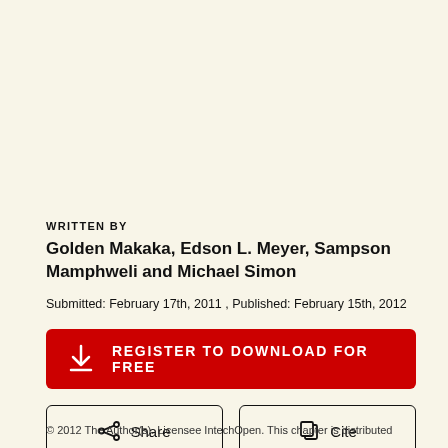WRITTEN BY
Golden Makaka, Edson L. Meyer, Sampson Mamphweli and Michael Simon
Submitted: February 17th, 2011 , Published: February 15th, 2012
[Figure (other): Red button with download icon and text: REGISTER TO DOWNLOAD FOR FREE]
[Figure (other): Two buttons: Share (with share icon) and Cite (with copy icon)]
© 2012 The Author(s). Licensee IntechOpen. This chapter is distributed